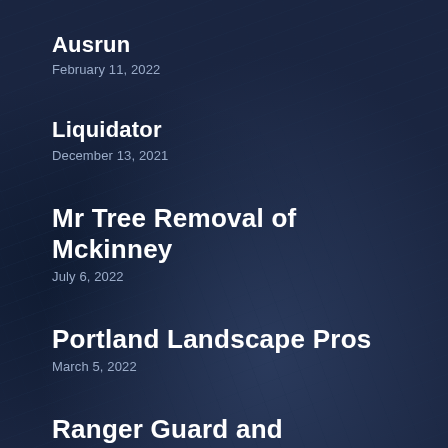Ausrun
February 11, 2022
Liquidator
December 13, 2021
Mr Tree Removal of Mckinney
July 6, 2022
Portland Landscape Pros
March 5, 2022
Ranger Guard and Investigations
June 17, 2022